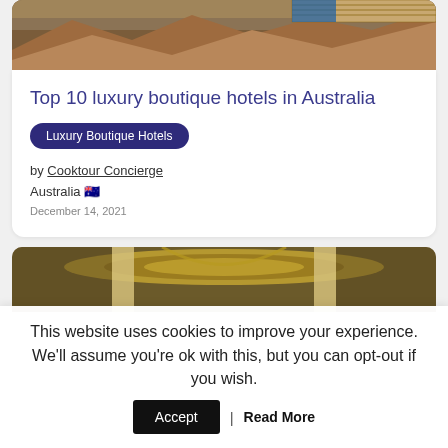[Figure (photo): Aerial/landscape photo showing red rocky terrain and a building with wooden slat facade at the top]
Top 10 luxury boutique hotels in Australia
Luxury Boutique Hotels
by Cooktour Concierge
Australia 🇦🇺
December 14, 2021
[Figure (photo): Interior photo of an ornate building with decorative circular ceiling and classical columns]
This website uses cookies to improve your experience. We'll assume you're ok with this, but you can opt-out if you wish.
Accept | Read More